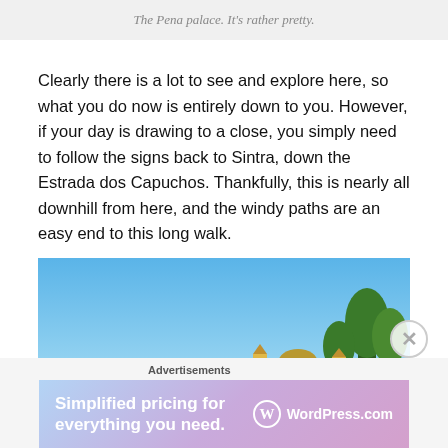The Pena palace. It's rather pretty.
Clearly there is a lot to see and explore here, so what you do now is entirely down to you. However, if your day is drawing to a close, you simply need to follow the signs back to Sintra, down the Estrada dos Capuchos. Thankfully, this is nearly all downhill from here, and the windy paths are an easy end to this long walk.
[Figure (photo): Photo of the Pena Palace atop a hill with blue sky, yellow and red palace visible on the right side with surrounding trees.]
Advertisements
[Figure (infographic): WordPress.com advertisement banner: 'Simplified pricing for everything you need.' with WordPress.com logo on a purple-pink gradient background.]